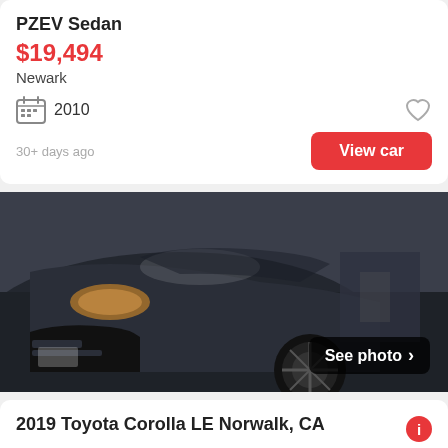PZEV Sedan
$19,494
Newark
2010
30+ days ago
View car
[Figure (photo): Front view of a dark blue/black Toyota Corolla in a parking lot, with a 'See photo' overlay button in the lower right.]
2019 Toyota Corolla LE Norwalk, CA
$20,588
Norwalk